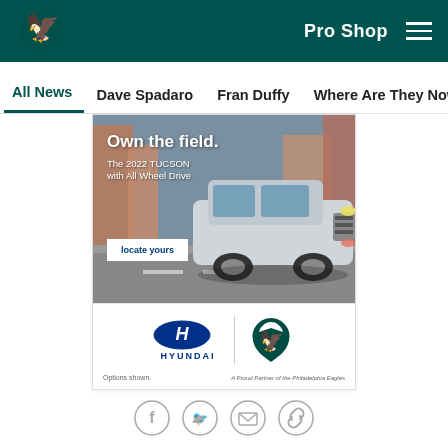Pro Shop
All News | Dave Spadaro | Fran Duffy | Where Are They Now? | Pu...
[Figure (photo): Hyundai advertisement banner showing a 2022 Tucson SUV driving on a road with text 'Own the field. The 2022 TUCSON with All Wheel Drive' and a 'locate yours' button, with Hyundai and Philadelphia Eagles logos at the bottom, and text 'Options shown.' and 'A Proud Partner of the Philadelphia Eagles']
[Figure (infographic): Social media share icons: Facebook, Twitter, Email, and Link/chain icons in circular outlines]